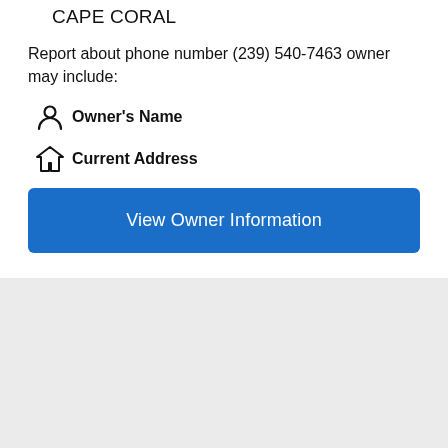CAPE CORAL
Report about phone number (239) 540-7463 owner may include:
Owner's Name
Current Address
View Owner Information